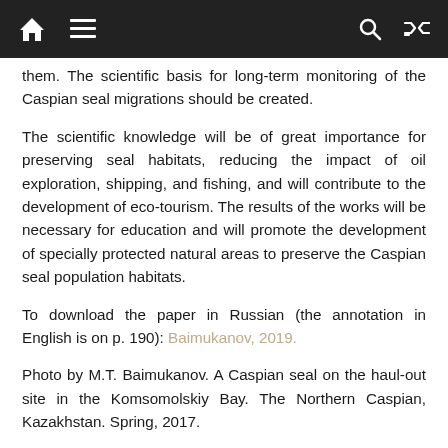[navigation bar with home, menu, search, shuffle icons]
them. The scientific basis for long-term monitoring of the Caspian seal migrations should be created.
The scientific knowledge will be of great importance for preserving seal habitats, reducing the impact of oil exploration, shipping, and fishing, and will contribute to the development of eco-tourism. The results of the works will be necessary for education and will promote the development of specially protected natural areas to preserve the Caspian seal population habitats.
To download the paper in Russian (the annotation in English is on p. 190): Baimukanov, 2019.
Photo by M.T. Baimukanov. A Caspian seal on the haul-out site in the Komsomolskiy Bay. The Northern Caspian, Kazakhstan. Spring, 2017.